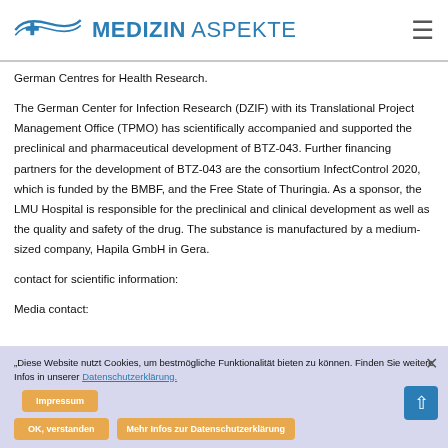MEDIZIN ASPEKTE
German Centres for Health Research.
The German Center for Infection Research (DZIF) with its Translational Project Management Office (TPMO) has scientifically accompanied and supported the preclinical and pharmaceutical development of BTZ-043. Further financing partners for the development of BTZ-043 are the consortium InfectControl 2020, which is funded by the BMBF, and the Free State of Thuringia. As a sponsor, the LMU Hospital is responsible for the preclinical and clinical development as well as the quality and safety of the drug. The substance is manufactured by a medium-sized company, Hapila GmbH in Gera.
contact for scientific information:
Media contact: